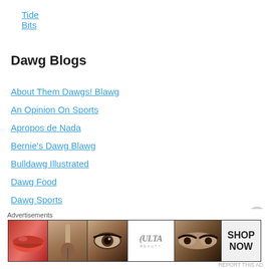Tide Bits
Dawg Blogs
About Them Dawgs! Blawg
An Opinion On Sports
Apropos de Nada
Bernie's Dawg Blawg
Bulldawg Illustrated
Dawg Food
Dawg Sports
Dawgnation
DawgsOnline
Field Street Forum
Georgia Sports Blog
Go You Silver Britches!
[Figure (infographic): Advertisements banner showing beauty/cosmetics images including lips, a makeup brush, an eye, ULTA beauty logo, eyes with dramatic makeup, and a SHOP NOW call to action panel.]